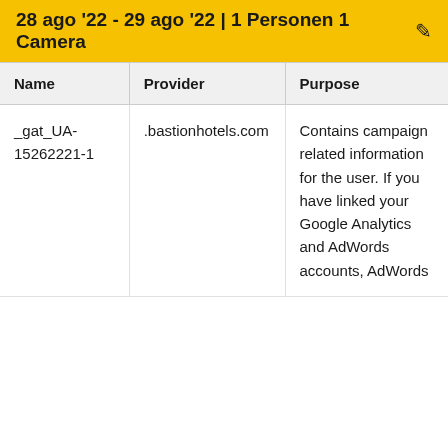28 ago '22 - 29 ago '22 | 1 Personen 1 Camera
| Name | Provider | Purpose |
| --- | --- | --- |
| _gat_UA-15262221-1 | .bastionhotels.com | Contains campaign related information for the user. If you have linked your Google Analytics and AdWords accounts, AdWords |